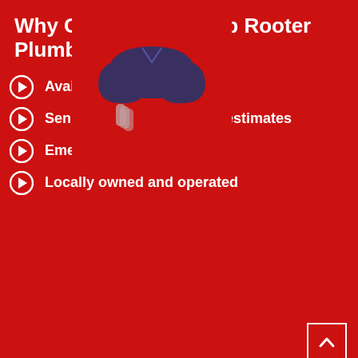[Figure (photo): Plumber in blue uniform with arms crossed, holding gloves, standing against a red background]
Why Choose One Stop Rooter Plumbing?
Available 24/7
Senior discounts and free estimates
Emergency service
Locally owned and operated